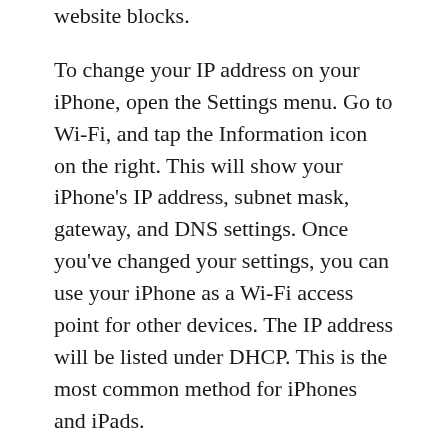website blocks.
To change your IP address on your iPhone, open the Settings menu. Go to Wi-Fi, and tap the Information icon on the right. This will show your iPhone’s IP address, subnet mask, gateway, and DNS settings. Once you’ve changed your settings, you can use your iPhone as a Wi-Fi access point for other devices. The IP address will be listed under DHCP. This is the most common method for iPhones and iPads.
Checking your own IP address
There are several ways to check your iPhone’s